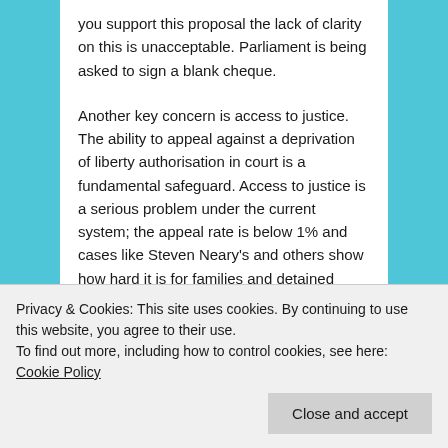you support this proposal the lack of clarity on this is unacceptable. Parliament is being asked to sign a blank cheque.
Another key concern is access to justice. The ability to appeal against a deprivation of liberty authorisation in court is a fundamental safeguard. Access to justice is a serious problem under the current system; the appeal rate is below 1% and cases like Steven Neary's and others show how hard it is for families and detained people to
scheme people will only have help to bring a
Privacy & Cookies: This site uses cookies. By continuing to use this website, you agree to their use.
To find out more, including how to control cookies, see here: Cookie Policy